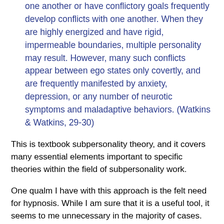one another or have conflictory goals frequently develop conflicts with one another. When they are highly energized and have rigid, impermeable boundaries, multiple personality may result. However, many such conflicts appear between ego states only covertly, and are frequently manifested by anxiety, depression, or any number of neurotic symptoms and maladaptive behaviors. (Watkins & Watkins, 29-30)
This is textbook subpersonality theory, and it covers many essential elements important to specific theories within the field of subpersonality work.
One qualm I have with this approach is the felt need for hypnosis. While I am sure that it is a useful tool, it seems to me unnecessary in the majority of cases. More often than not, such standard techniques as empty chair, active imagination, or voice dialogue, among many options, will do the job quite nicely when accessing ego states.
The key points from this passage that I want to highlight: